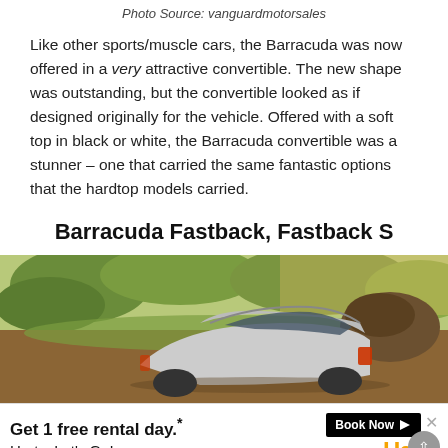Photo Source: vanguardmotorsales
Like other sports/muscle cars, the Barracuda was now offered in a very attractive convertible. The new shape was outstanding, but the convertible looked as if designed originally for the vehicle. Offered with a soft top in black or white, the Barracuda convertible was a stunner – one that carried the same fantastic options that the hardtop models carried.
Barracuda Fastback, Fastback S
[Figure (photo): Rear view of a Barracuda fastback car parked on a road with green trees and shrubs in the background]
[Figure (other): Advertisement: Get 1 free rental day.* Hertz. Let's Go! Book Now button with Hertz logo]